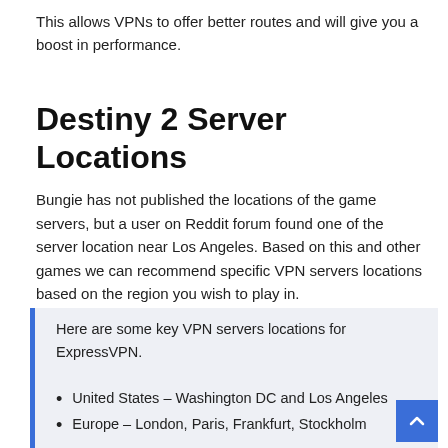This allows VPNs to offer better routes and will give you a boost in performance.
Destiny 2 Server Locations
Bungie has not published the locations of the game servers, but a user on Reddit forum found one of the server location near Los Angeles. Based on this and other games we can recommend specific VPN servers locations based on the region you wish to play in.
Here are some key VPN servers locations for ExpressVPN.
United States – Washington DC and Los Angeles
Europe – London, Paris, Frankfurt, Stockholm